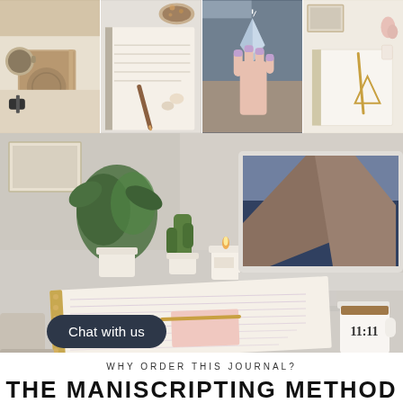[Figure (photo): Grid of four lifestyle/journaling photos: person holding journal with coffee, open notebook with pen, hand holding crystal, and spiral notebook with gold triangle pen on desk]
[Figure (photo): Photo of a desk workspace with an iMac computer showing coastal screensaver, open journal with handwriting, candle, plants, and a mug reading 11:11]
Chat with us
WHY ORDER THIS JOURNAL?
THE MANISCRIPTING METHOD